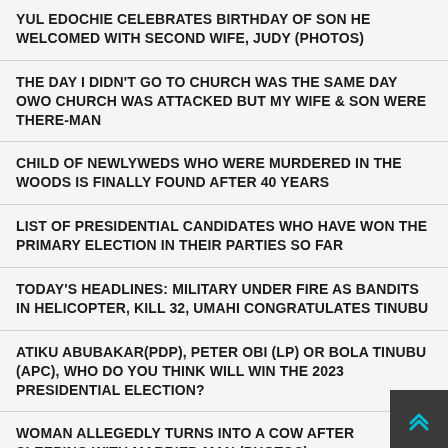YUL EDOCHIE CELEBRATES BIRTHDAY OF SON HE WELCOMED WITH SECOND WIFE, JUDY (PHOTOS)
THE DAY I DIDN'T GO TO CHURCH WAS THE SAME DAY OWO CHURCH WAS ATTACKED BUT MY WIFE & SON WERE THERE-MAN
CHILD OF NEWLYWEDS WHO WERE MURDERED IN THE WOODS IS FINALLY FOUND AFTER 40 YEARS
LIST OF PRESIDENTIAL CANDIDATES WHO HAVE WON THE PRIMARY ELECTION IN THEIR PARTIES SO FAR
TODAY'S HEADLINES: MILITARY UNDER FIRE AS BANDITS IN HELICOPTER, KILL 32, UMAHI CONGRATULATES TINUBU
ATIKU ABUBAKAR(PDP), PETER OBI (LP) OR BOLA TINUBU (APC), WHO DO YOU THINK WILL WIN THE 2023 PRESIDENTIAL ELECTION?
WOMAN ALLEGEDLY TURNS INTO A COW AFTER SLEEPING WITH MARRIED MAN (PHOTOS)